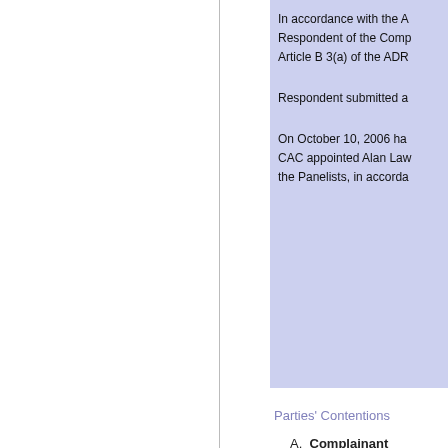In accordance with the A... Respondent of the Comp... Article B 3(a) of the ADR...
Respondent submitted a...
On October 10, 2006 ha... CAC appointed Alan Law... the Panelists, in accorda...
Parties' Contentions
A.  Complainant
Complainant asse... to reject the Appli... the phased regist...
Complaint contem... 874/2004 and No...
In support of this...
- The Royals Ban... Royal Bank of Sc... Bank of Scotland...